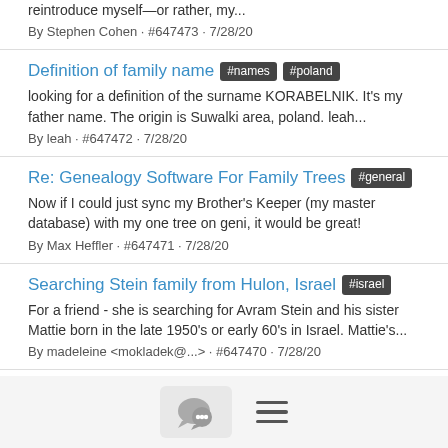reintroduce myself—or rather, my...
By Stephen Cohen · #647473 · 7/28/20
Definition of family name #names #poland
looking for a definition of the surname KORABELNIK. It's my father name. The origin is Suwalki area, poland. leah...
By leah · #647472 · 7/28/20
Re: Genealogy Software For Family Trees #general
Now if I could just sync my Brother's Keeper (my master database) with my one tree on geni, it would be great!
By Max Heffler · #647471 · 7/28/20
Searching Stein family from Hulon, Israel #israel
For a friend - she is searching for Avram Stein and his sister Mattie born in the late 1950's or early 60's in Israel. Mattie's...
By madeleine <mokladek@...> · #647470 · 7/28/20
Re: Translate from polish #translation
very hem try it if it were Polish you could read it and see the name...